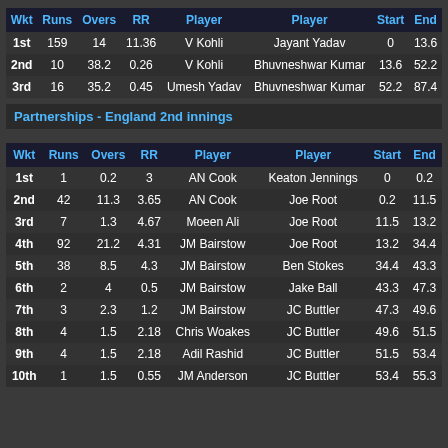| Wkt | Runs | Overs | RR | Player | Player | Start | End |
| --- | --- | --- | --- | --- | --- | --- | --- |
| 1st | 159 | 14 | 11.36 | V Kohli | Jayant Yadav | 0 | 13.6 |
| 2nd | 10 | 38.2 | 0.26 | V Kohli | Bhuvneshwar Kumar | 13.6 | 52.2 |
| 3rd | 16 | 35.2 | 0.45 | Umesh Yadav | Bhuvneshwar Kumar | 52.2 | 87.4 |
Partnerships - England 2nd innings
| Wkt | Runs | Overs | RR | Player | Player | Start | End |
| --- | --- | --- | --- | --- | --- | --- | --- |
| 1st | 1 | 0.2 | 3 | AN Cook | Keaton Jennings | 0 | 0.2 |
| 2nd | 42 | 11.3 | 3.65 | AN Cook | Joe Root | 0.2 | 11.5 |
| 3rd | 7 | 1.3 | 4.67 | Moeen Ali | Joe Root | 11.5 | 13.2 |
| 4th | 92 | 21.2 | 4.31 | JM Bairstow | Joe Root | 13.2 | 34.4 |
| 5th | 38 | 8.5 | 4.3 | JM Bairstow | Ben Stokes | 34.4 | 43.3 |
| 6th | 2 | 4 | 0.5 | JM Bairstow | Jake Ball | 43.3 | 47.3 |
| 7th | 3 | 2.3 | 1.2 | JM Bairstow | JC Buttler | 47.3 | 49.6 |
| 8th | 4 | 1.5 | 2.18 | Chris Woakes | JC Buttler | 49.6 | 51.5 |
| 9th | 4 | 1.5 | 2.18 | Adil Rashid | JC Buttler | 51.5 | 53.4 |
| 10th | 1 | 1.5 | 0.55 | JM Anderson | JC Buttler | 53.4 | 55.3 |